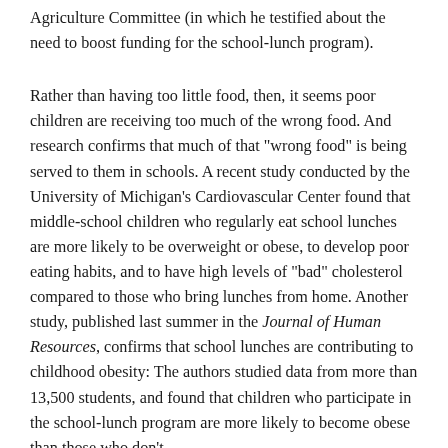Agriculture Committee (in which he testified about the need to boost funding for the school-lunch program).
Rather than having too little food, then, it seems poor children are receiving too much of the wrong food. And research confirms that much of that "wrong food" is being served to them in schools. A recent study conducted by the University of Michigan's Cardiovascular Center found that middle-school children who regularly eat school lunches are more likely to be overweight or obese, to develop poor eating habits, and to have high levels of "bad" cholesterol compared to those who bring lunches from home. Another study, published last summer in the Journal of Human Resources, confirms that school lunches are contributing to childhood obesity: The authors studied data from more than 13,500 students, and found that children who participate in the school-lunch program are more likely to become obese than those who don't.